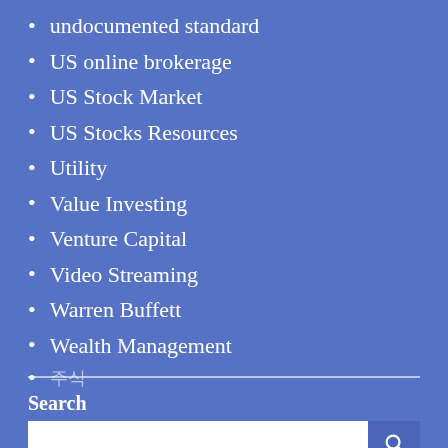undocumented standard
US online brokerage
US Stock Market
US Stocks Resources
Utility
Value Investing
Venture Capital
Video Streaming
Warren Buffett
Wealth Management
주식
Search